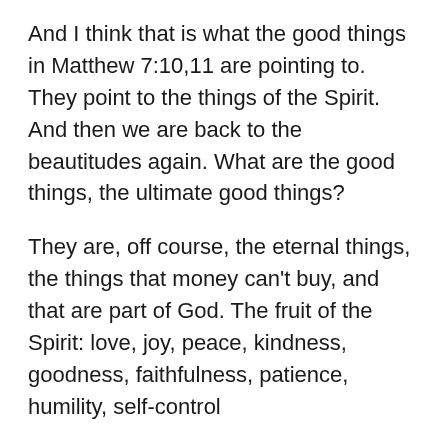And I think that is what the good things in Matthew 7:10,11 are pointing to. They point to the things of the Spirit. And then we are back to the beautitudes again. What are the good things, the ultimate good things?
They are, off course, the eternal things, the things that money can't buy, and that are part of God. The fruit of the Spirit: love, joy, peace, kindness, goodness, faithfulness, patience, humility, self-control
Or as Jesus puts it:
Poverty of spirit,
Mourning, brokenness